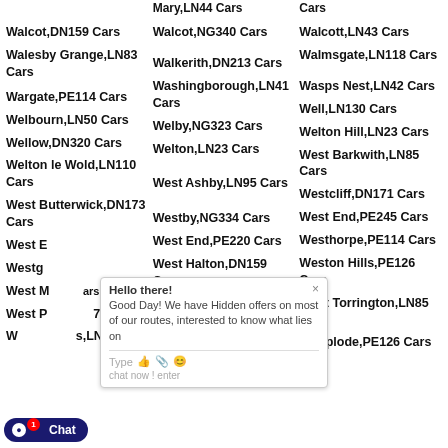Walcot,DN159 Cars
Walcot,NG340 Cars
Walcott,LN43 Cars
Walesby Grange,LN83 Cars
Walkerith,DN213 Cars
Walmsgate,LN118 Cars
Wargate,PE114 Cars
Washingborough,LN41 Cars
Wasps Nest,LN42 Cars
Welbourn,LN50 Cars
Welby,NG323 Cars
Well,LN130 Cars
Wellow,DN320 Cars
Welton,LN23 Cars
Welton Hill,LN23 Cars
Welton le Wold,LN110 Cars
West Ashby,LN95 Cars
West Barkwith,LN85 Cars
West Butterwick,DN173 Cars
Westby,NG334 Cars
Westcliff,DN171 Cars
West End,PE220 Cars
West End,PE245 Cars
West Halton,DN159 Cars
Westhorpe,PE114 Cars
Weston,PE126 Cars
Weston Hills,PE126 Cars
Westrum,DN209 Cars
West Torrington,LN85 Cars
Westwoodside,DN92 Cars
Whaplode,PE126 Cars